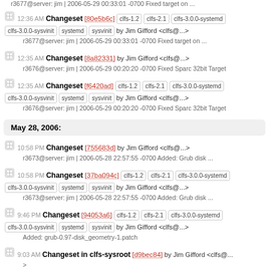r3677@server: jim | 2006-05-29 00:33:01 -0700 Fixed target on ...
12:36 AM Changeset [80e5b6c] clfs-1.2 clfs-2.1 clfs-3.0.0-systemd clfs-3.0.0-sysvinit systemd sysvinit by Jim Gifford <clfs@...>
r3677@server: jim | 2006-05-29 00:33:01 -0700 Fixed target on ...
12:35 AM Changeset [8a82331] by Jim Gifford <clfs@...>
r3676@server: jim | 2006-05-29 00:20:20 -0700 Fixed Sparc 32bit Target
12:35 AM Changeset [f6420ad] clfs-1.2 clfs-2.1 clfs-3.0.0-systemd clfs-3.0.0-sysvinit systemd sysvinit by Jim Gifford <clfs@...>
r3676@server: jim | 2006-05-29 00:20:20 -0700 Fixed Sparc 32bit Target
May 28, 2006:
10:58 PM Changeset [755683d] by Jim Gifford <clfs@...>
r3673@server: jim | 2006-05-28 22:57:55 -0700 Added: Grub disk ...
10:58 PM Changeset [37ba094c] clfs-1.2 clfs-2.1 clfs-3.0.0-systemd clfs-3.0.0-sysvinit systemd sysvinit by Jim Gifford <clfs@...>
r3673@server: jim | 2006-05-28 22:57:55 -0700 Added: Grub disk ...
9:46 PM Changeset [94053a6] clfs-1.2 clfs-2.1 clfs-3.0.0-systemd clfs-3.0.0-sysvinit systemd sysvinit by Jim Gifford <clfs@...>
Added: grub-0.97-disk_geometry-1.patch
9:03 AM Changeset in clfs-sysroot [d9bec84] by Jim Gifford <clfs@...>
>